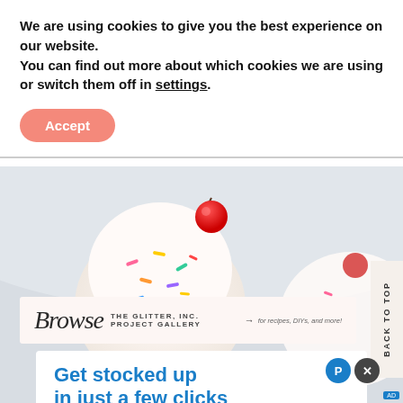We are using cookies to give you the best experience on our website.
You can find out more about which cookies we are using or switch them off in settings.
Accept
[Figure (photo): Close-up photo of ice cream sundaes with whipped cream, colorful sprinkles, and a cherry on top, with pastel background]
[Figure (other): Browse The Glitter, Inc. Project Gallery banner with cursive Browse text and arrow pointing right with text 'for recipes, DIYs, and more!']
BACK TO TOP
[Figure (infographic): Advertisement: Get stocked up in just a few clicks. No markups or hidden fees. Swipe up to expand button.]